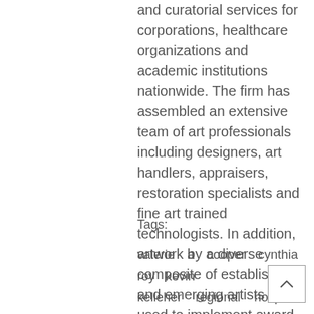and curatorial services for corporations, healthcare organizations and academic institutions nationwide. The firm has assembled an extensive team of art professionals including designers, art handlers, appraisers, restoration specialists and fine art trained technologists. In addition, artwork by a diverse composite of established and emerging artists are used to implement award-winning solutions.
Tags:
valerie a cooper cynthia roy kevin kelleher regional hospice danbur facilities home care center